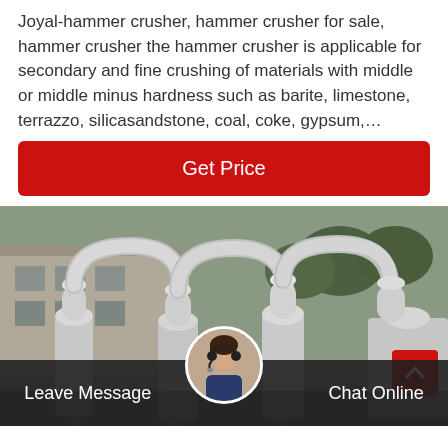Joyal-hammer crusher, hammer crusher for sale, hammer crusher the hammer crusher is applicable for secondary and fine crushing of materials with middle or middle minus hardness such as barite, limestone, terrazzo, silicasandstone, coal, coke, gypsum,…
Get Price
[Figure (photo): Industrial equipment photo showing multiple large silver/metallic cyclone or hammer crusher units with curved pipe connections, standing outside in front of a building with trees in the background]
Leave Message
Chat Online